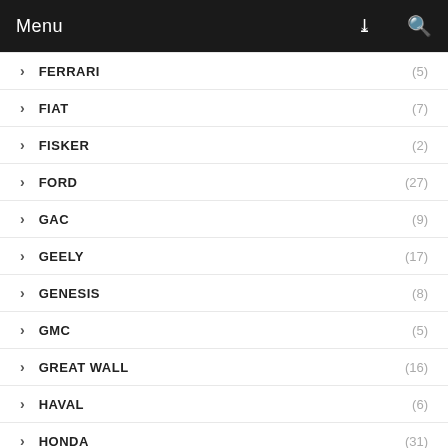Menu
FERRARI (5)
FIAT (7)
FISKER (2)
FORD (27)
GAC (9)
GEELY (17)
GENESIS (8)
GMC (5)
GREAT WALL (16)
HAVAL (6)
HONDA (31)
HUAWEI (3)